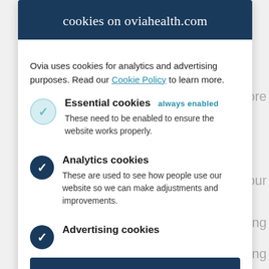cookies on oviahealth.com
Ovia uses cookies for analytics and advertising purposes. Read our Cookie Policy to learn more.
Essential cookies always enabled — These need to be enabled to ensure the website works properly.
Analytics cookies — These are used to see how people use our website so we can make adjustments and improvements.
Advertising cookies